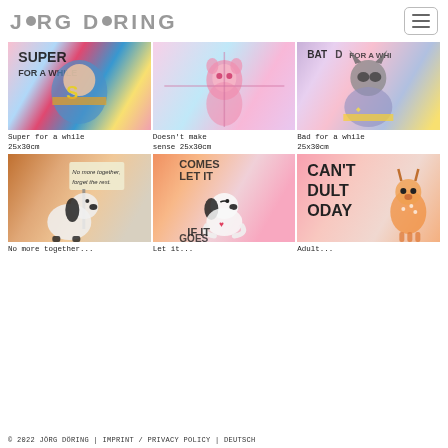JÖRG DÖRING
[Figure (photo): Superman comic art on colorful background, text 'Super for a while']
Super for a while 25x30cm
[Figure (photo): Pink Panther cartoon on pink/blue splattered background]
Doesn't make sense 25x30cm
[Figure (photo): Batman comic art on colorful background, text 'Bad for a while']
Bad for a while 25x30cm
[Figure (photo): Snoopy holding sign 'No more together, forget the rest' on brown/tan background]
No more together... (partial)
[Figure (photo): Snoopy meditating with text 'Comes Let It... If It Goes' on pink/orange background]
Let it... (partial)
[Figure (photo): Bambi with text 'Can't Adult Today' on pink background]
Adult... (partial)
© 2022 JÖRG DÖRING | IMPRINT / PRIVACY POLICY | DEUTSCH